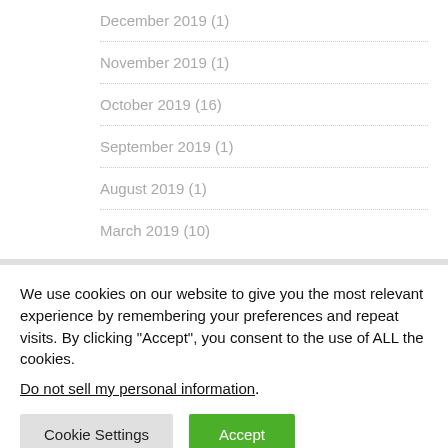December 2019 (1)
November 2019 (1)
October 2019 (16)
September 2019 (1)
August 2019 (1)
March 2019 (10)
We use cookies on our website to give you the most relevant experience by remembering your preferences and repeat visits. By clicking “Accept”, you consent to the use of ALL the cookies.
Do not sell my personal information.